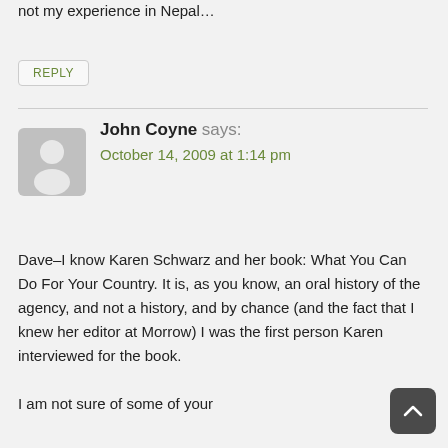not my experience in Nepal…
REPLY
John Coyne says:
October 14, 2009 at 1:14 pm
Dave–I know Karen Schwarz and her book: What You Can Do For Your Country. It is, as you know, an oral history of the agency, and not a history, and by chance (and the fact that I knew her editor at Morrow) I was the first person Karen interviewed for the book.
I am not sure of some of your